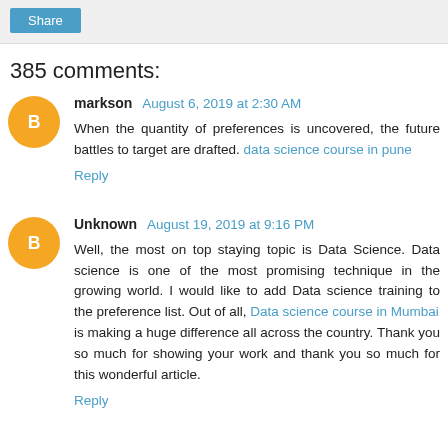Share
385 comments:
markson  August 6, 2019 at 2:30 AM
When the quantity of preferences is uncovered, the future battles to target are drafted. data science course in pune
Reply
Unknown  August 19, 2019 at 9:16 PM
Well, the most on top staying topic is Data Science. Data science is one of the most promising technique in the growing world. I would like to add Data science training to the preference list. Out of all, Data science course in Mumbai
is making a huge difference all across the country. Thank you so much for showing your work and thank you so much for this wonderful article.
Reply